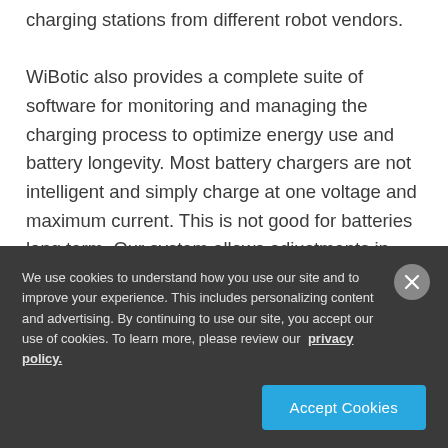charging stations from different robot vendors. WiBotic also provides a complete suite of software for monitoring and managing the charging process to optimize energy use and battery longevity. Most battery chargers are not intelligent and simply charge at one voltage and maximum current. This is not good for batteries long term. Our system allows adjustments in voltage and current over time, based upon the robot's duty cycle to ensure it has the power
We use cookies to understand how you use our site and to improve your experience. This includes personalizing content and advertising. By continuing to use our site, you accept our use of cookies. To learn more, please review our privacy policy.